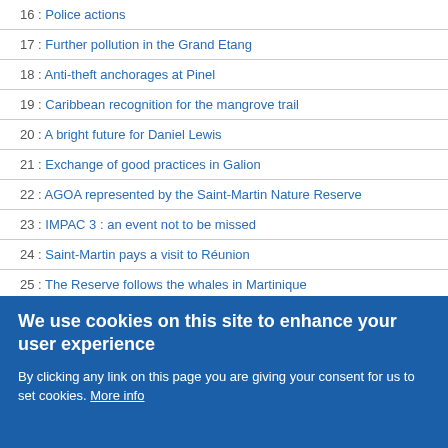16 : Police actions
17 : Further pollution in the Grand Etang
18 : Anti-theft anchorages at Pinel
19 : Caribbean recognition for the mangrove trail
20 : A bright future for Daniel Lewis
21 : Exchange of good practices in Galion
22 : AGOA represented by the Saint-Martin Nature Reserve
23 : IMPAC 3 : an event not to be missed
24 : Saint-Martin pays a visit to Réunion
25 : The Reserve follows the whales in Martinique
26 : The Reserve travels to Corpus Christi
27 : Press Review
Réserve Naturelle Nationale de Saint-Martin - Antenne du
We use cookies on this site to enhance your user experience
By clicking any link on this page you are giving your consent for us to set cookies. More info